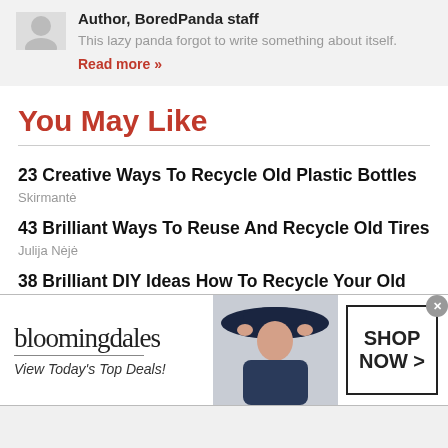Author, BoredPanda staff
This lazy panda forgot to write something about itself.
Read more »
You May Like
23 Creative Ways To Recycle Old Plastic Bottles
Skirmantė
43 Brilliant Ways To Reuse And Recycle Old Tires
Julija Nėjė
38 Brilliant DIY Ideas How To Recycle Your Old CDs
[Figure (photo): Bloomingdale's advertisement banner with woman wearing wide-brim hat, 'View Today's Top Deals!' tagline and 'SHOP NOW >' button]